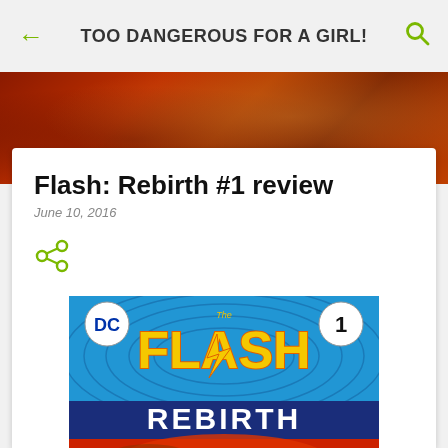TOO DANGEROUS FOR A GIRL!
[Figure (photo): Blurred reddish-orange background hero image banner]
Flash: Rebirth #1 review
June 10, 2016
[Figure (photo): Comic book cover of The Flash Rebirth #1 — DC logo top left, number 1 badge top right, large yellow Flash lightning bolt logo on blue background with speed lines, 'REBIRTH' text in white/blue below, red Flash costume visible at bottom]